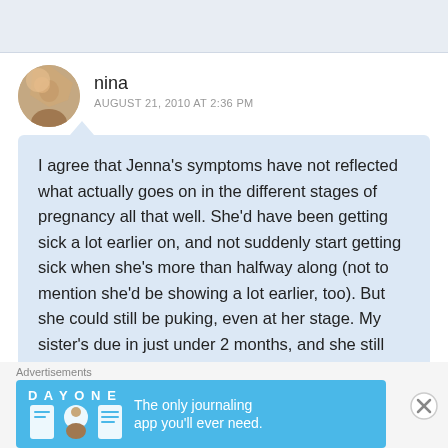nina
AUGUST 21, 2010 AT 2:36 PM
I agree that Jenna's symptoms have not reflected what actually goes on in the different stages of pregnancy all that well. She'd have been getting sick a lot earlier on, and not suddenly start getting sick when she's more than halfway along (not to mention she'd be showing a lot earlier, too). But she could still be puking, even at her stage. My sister's due in just under 2 months, and she still
Advertisements
[Figure (screenshot): DAY ONE journaling app advertisement banner with blue background]